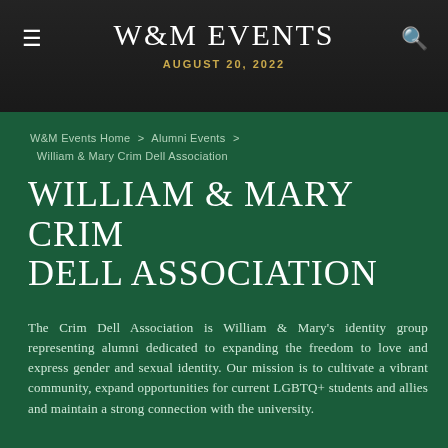W&M EVENTS
AUGUST 20, 2022
W&M Events Home  >  Alumni Events  >
William & Mary Crim Dell Association
WILLIAM & MARY CRIM DELL ASSOCIATION
The Crim Dell Association is William & Mary's identity group representing alumni dedicated to expanding the freedom to love and express gender and sexual identity. Our mission is to cultivate a vibrant community, expand opportunities for current LGBTQ+ students and allies and maintain a strong connection with the university.